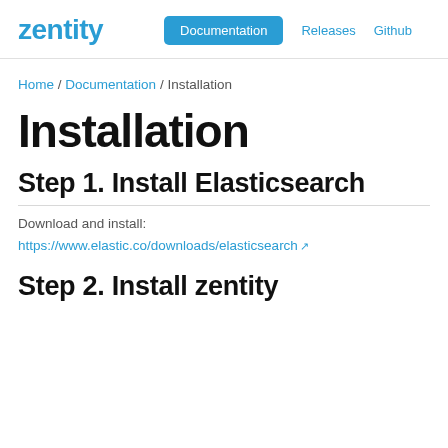zentity  Documentation  Releases  Github
Home / Documentation / Installation
Installation
Step 1. Install Elasticsearch
Download and install:
https://www.elastic.co/downloads/elasticsearch
Step 2. Install zentity